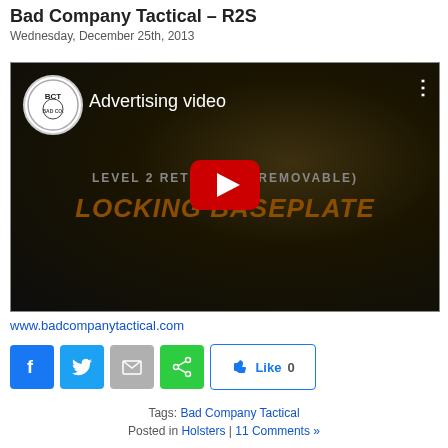Bad Company Tactical – R2S
Wednesday, December 25th, 2013
[Figure (screenshot): YouTube video thumbnail showing 'Advertising video' with BCT logo, dark background, text overlays 'LEVEL 2 RETENTION (REMOVABLE)' and 'LOCKING BASEPLATE', and a red YouTube play button in the center.]
www.badcompanytactical.com
[Figure (infographic): Social share buttons: Facebook (blue), Twitter (blue), Email (gray), Share (green), and a Like button with count 0.]
Tags: Bad Company Tactical
Posted in Holsters | 11 Comments »